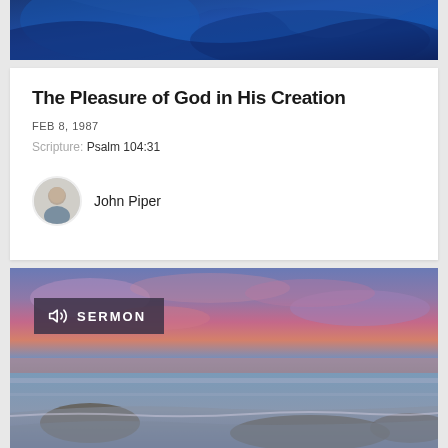[Figure (photo): Blue abstract background image at top of page]
The Pleasure of God in His Creation
FEB 8, 1987
Scripture: Psalm 104:31
John Piper
[Figure (photo): Coastal sunset scene with dramatic pink and purple clouds over ocean with rocky shoreline, with a SERMON audio badge overlay]